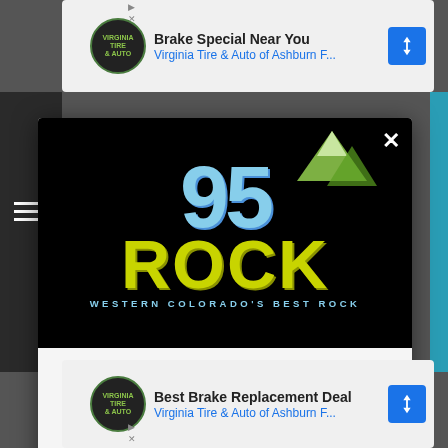[Figure (screenshot): Top advertisement banner: Brake Special Near You - Virginia Tire & Auto of Ashburn F...]
[Figure (logo): 95 ROCK radio station logo on black background with mountain graphic and tagline WESTERN COLORADO'S BEST ROCK]
DOWNLOAD THE 95 ROCK MOBILE APP
GET OUR FREE MOBILE APP
Also listen on: amazon alexa
[Figure (screenshot): Bottom advertisement banner: Best Brake Replacement Deal - Virginia Tire & Auto of Ashburn F...]